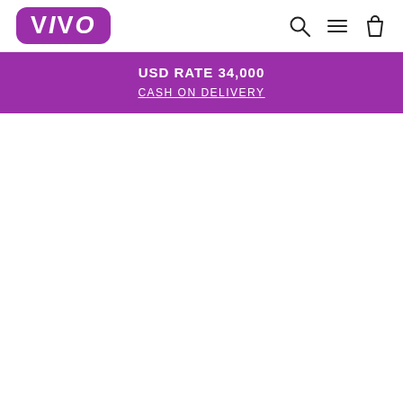[Figure (logo): VIVO brand logo in purple rounded rectangle with white bold text]
[Figure (other): Navigation icons: search (magnifying glass), menu (hamburger lines), cart (shopping bag)]
USD RATE 34,000
CASH ON DELIVERY